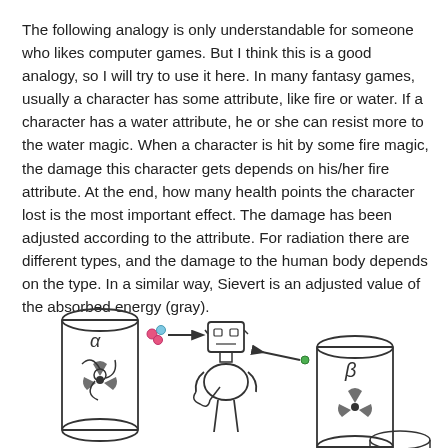The following analogy is only understandable for someone who likes computer games. But I think this is a good analogy, so I will try to use it here. In many fantasy games, usually a character has some attribute, like fire or water. If a character has a water attribute, he or she can resist more to the water magic. When a character is hit by some fire magic, the damage this character gets depends on his/her fire attribute. At the end, how many health points the character lost is the most important effect. The damage has been adjusted according to the attribute. For radiation there are different types, and the damage to the human body depends on the type. In a similar way, Sievert is an adjusted value of the absorbed energy (gray).
[Figure (illustration): Hand-drawn illustration showing two cylindrical barrels with radiation symbols on the left and right. In the center is a cartoon robot/character being hit by radiation particles (shown as small colored dots with an arrow from the left barrel toward the character). A small dot with an arrow points from the right barrel toward the character as well. The character appears to be holding something and has an expression of being affected.]